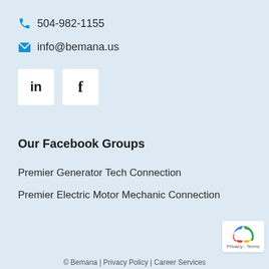504-982-1155
info@bemana.us
[Figure (logo): LinkedIn icon box and Facebook icon box (social media links)]
Our Facebook Groups
Premier Generator Tech Connection
Premier Electric Motor Mechanic Connection
[Figure (logo): Google reCAPTCHA badge with Privacy and Terms labels]
© Bemana | Privacy Policy | Career Services